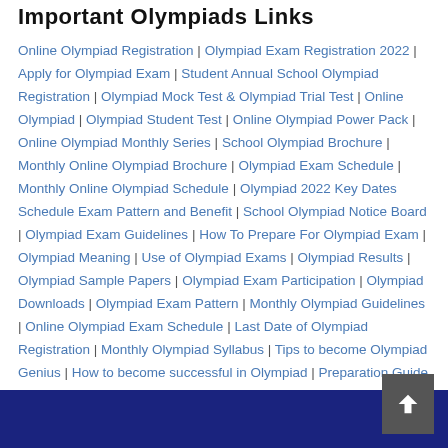Important Olympiads Links
Online Olympiad Registration | Olympiad Exam Registration 2022 | Apply for Olympiad Exam | Student Annual School Olympiad Registration | Olympiad Mock Test & Olympiad Trial Test | Online Olympiad | Olympiad Student Test | Online Olympiad Power Pack | Online Olympiad Monthly Series | School Olympiad Brochure | Monthly Online Olympiad Brochure | Olympiad Exam Schedule | Monthly Online Olympiad Schedule | Olympiad 2022 Key Dates Schedule Exam Pattern and Benefit | School Olympiad Notice Board | Olympiad Exam Guidelines | How To Prepare For Olympiad Exam | Olympiad Meaning | Use of Olympiad Exams | Olympiad Results | Olympiad Sample Papers | Olympiad Exam Participation | Olympiad Downloads | Olympiad Exam Pattern | Monthly Olympiad Guidelines | Online Olympiad Exam Schedule | Last Date of Olympiad Registration | Monthly Olympiad Syllabus | Tips to become Olympiad Genius | How to become successful in Olympiad | Preparation Guide for Olympiad | Science Olympiad Foundation Course | Olympiad Helper Material |